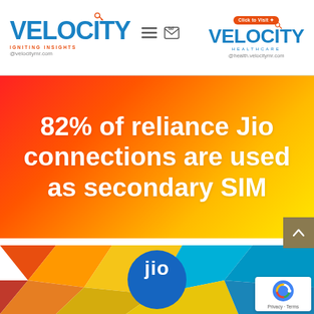VELOCITY IGNITING INSIGHTS @velocitymr.com | Click to Visit VELOCITY HEALTHCARE @health.velocitymr.com
[Figure (infographic): Gradient background banner (red to yellow) with bold white text reading: 82% of reliance Jio connections are used as secondary SIM]
82% of reliance Jio connections are used as secondary SIM
[Figure (photo): Bottom section showing colorful low-poly geometric background with blue Jio logo circle in center]